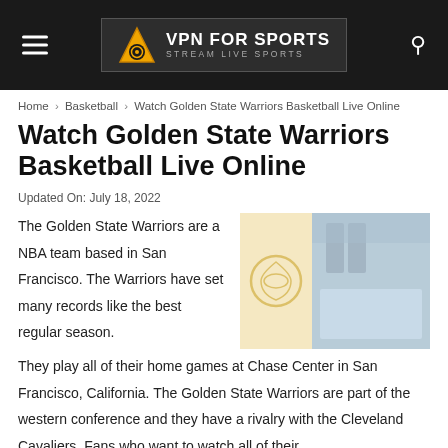VPN FOR SPORTS — STREAM LIVE SPORTS
Home › Basketball › Watch Golden State Warriors Basketball Live Online
Watch Golden State Warriors Basketball Live Online
Updated On: July 18, 2022
[Figure (photo): Two-part image: left half shows Golden State Warriors logo on a cream/gold background; right half shows a basketball arena scene with players.]
The Golden State Warriors are a NBA team based in San Francisco. The Warriors have set many records like the best regular season. They play all of their home games at Chase Center in San Francisco, California. The Golden State Warriors are part of the western conference and they have a rivalry with the Cleveland Cavaliers. Fans who want to watch all of their